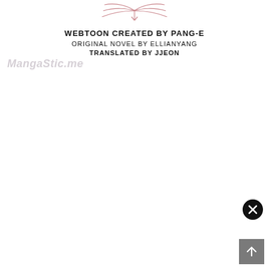[Figure (illustration): Decorative ornamental wing/arrow motif in dusty rose/pink color at top center]
WEBTOON CREATED BY PANG-E
ORIGINAL NOVEL BY ELLIANYANG
TRANSLATED BY JJEON
MangaStic.me
[Figure (illustration): Close button (black circle with X) in lower right area]
[Figure (illustration): Scroll-to-top button (grey square with up arrow) in bottom right corner]